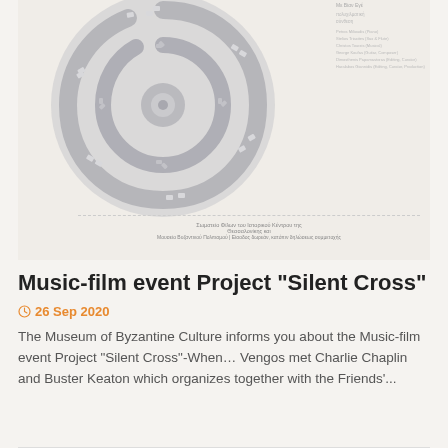[Figure (illustration): Event poster for Music-film Project Silent Cross showing a film reel graphic on a circular grey background, with Greek text credits on the right side and Greek organizational text at the bottom with a dashed border.]
Music-film event Project “Silent Cross”
26 Sep 2020
The Museum of Byzantine Culture informs you about the Music-film event Project “Silent Cross”-When… Vengos met Charlie Chaplin and Buster Keaton which organizes together with the Friends’...